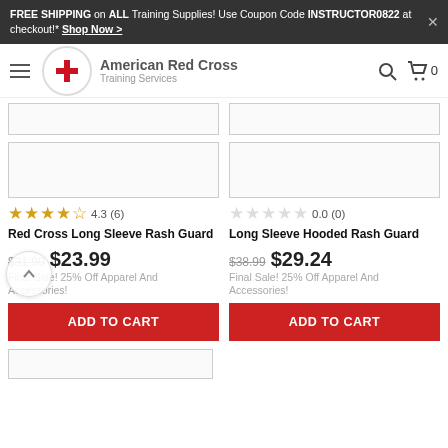FREE SHIPPING on ALL Training Supplies! Use Coupon Code INSTRUCTOR0822 at checkout!* Shop Now >
[Figure (logo): American Red Cross Training Services logo with red cross symbol]
[Figure (screenshot): Partial product image placeholder (top row, two columns)]
[Figure (screenshot): Product image placeholder for Red Cross Long Sleeve Rash Guard]
4.3 (6)
Red Cross Long Sleeve Rash Guard
$31.99  $23.99
Final Sale! 25% Off Apparel And Accessories!
ADD TO CART
[Figure (screenshot): Product image placeholder for Long Sleeve Hooded Rash Guard]
0.0 (0)
Long Sleeve Hooded Rash Guard
$38.99  $29.24
Final Sale! 25% Off Apparel And Accessories!
ADD TO CART
[Figure (screenshot): Partial product image placeholder at bottom]